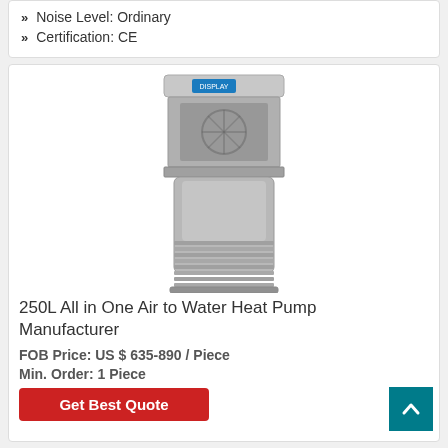Noise Level: Ordinary
Certification: CE
[Figure (photo): Product photo of a 250L All in One Air to Water Heat Pump, cylindrical unit with silver casing, ribbed lower section, and blue digital display on top]
250L All in One Air to Water Heat Pump Manufacturer
FOB Price: US $ 635-890 / Piece
Min. Order: 1 Piece
Get Best Quote